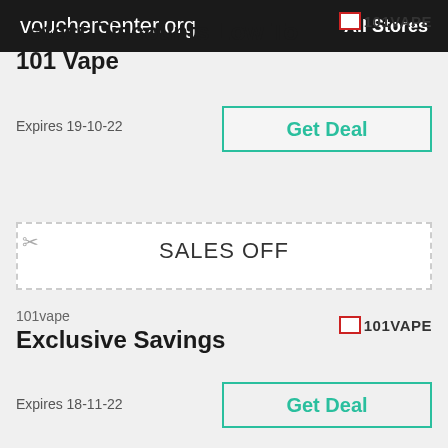vouchercenter.org   All Stores
Latest Discounts Low To 101 Vape
Expires 19-10-22
Get Deal
SALES OFF
101vape
Exclusive Savings
Expires 18-11-22
Get Deal
35% OFF